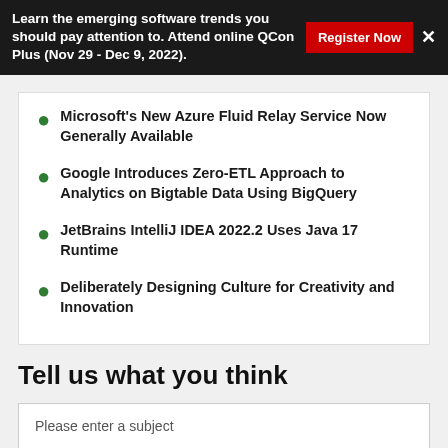Learn the emerging software trends you should pay attention to. Attend online QCon Plus (Nov 29 - Dec 9, 2022). Register Now ×
Microsoft's New Azure Fluid Relay Service Now Generally Available
Google Introduces Zero-ETL Approach to Analytics on Bigtable Data Using BigQuery
JetBrains IntelliJ IDEA 2022.2 Uses Java 17 Runtime
Deliberately Designing Culture for Creativity and Innovation
Tell us what you think
Please enter a subject
Message